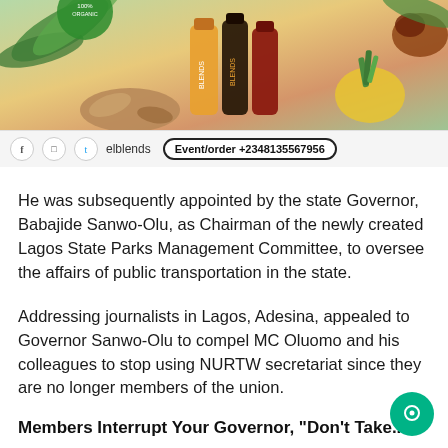[Figure (photo): Advertisement for elblends — bottles of juice/smoothie products with tropical fruits (ginger, pineapple) and green leaves in the background. Social media icons for Facebook, Instagram, Twitter, brand name 'elblends', and contact 'Event/order +2348135567956'.]
He was subsequently appointed by the state Governor, Babajide Sanwo-Olu, as Chairman of the newly created Lagos State Parks Management Committee, to oversee the affairs of public transportation in the state.
Addressing journalists in Lagos, Adesina, appealed to Governor Sanwo-Olu to compel MC Oluomo and his colleagues to stop using NURTW secretariat since they are no longer members of the union.
Members Interrupt Your Governor, "Don't Take..."